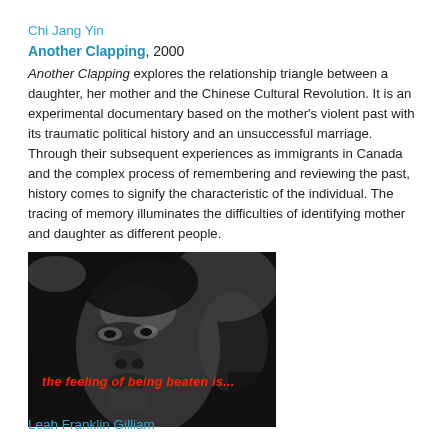Chi Jang Yin
Another Clapping, 2000
Another Clapping explores the relationship triangle between a daughter, her mother and the Chinese Cultural Revolution. It is an experimental documentary based on the mother's violent past with its traumatic political history and an unsuccessful marriage. Through their subsequent experiences as immigrants in Canada and the complex process of remembering and reviewing the past, history comes to signify the characteristic of the individual. The tracing of memory illuminates the difficulties of identifying mother and daughter as different people.
[Figure (photo): Black and white film still showing a close-up of a face, with red italic text overlay reading 'the feeling of being beaten is...']
Leah Franklin Gilliam